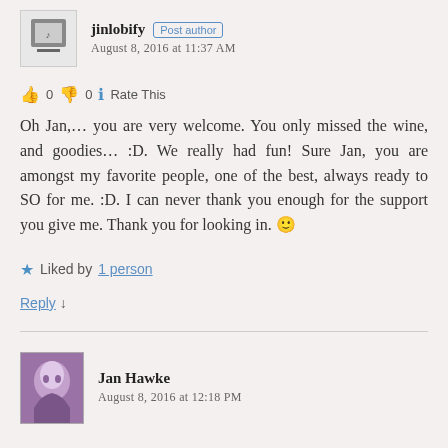jinlobify Post author August 8, 2016 at 11:37 AM
👍 0 👎 0 ℹ Rate This
Oh Jan,… you are very welcome. You only missed the wine, and goodies… :D. We really had fun! Sure Jan, you are amongst my favorite people, one of the best, always ready to SO for me. :D. I can never thank you enough for the support you give me. Thank you for looking in. 🙂
Liked by 1 person
Reply ↓
Jan Hawke August 8, 2016 at 12:18 PM